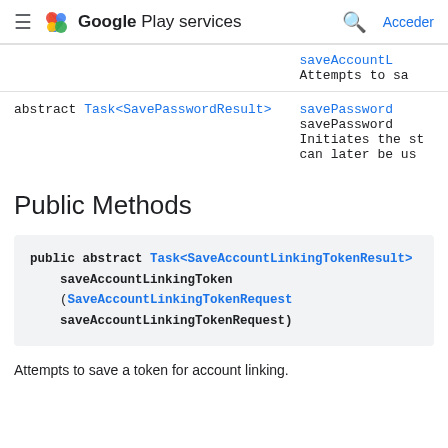Google Play services — Acceder
| Type | Description |
| --- | --- |
|  | saveAccountL
Attempts to sa |
| abstract Task<SavePasswordResult> | savePassword
savePassword
Initiates the st
can later be us |
Public Methods
public abstract Task<SaveAccountLinkingTokenResult>
    saveAccountLinkingToken
    (SaveAccountLinkingTokenRequest
    saveAccountLinkingTokenRequest)
Attempts to save a token for account linking.